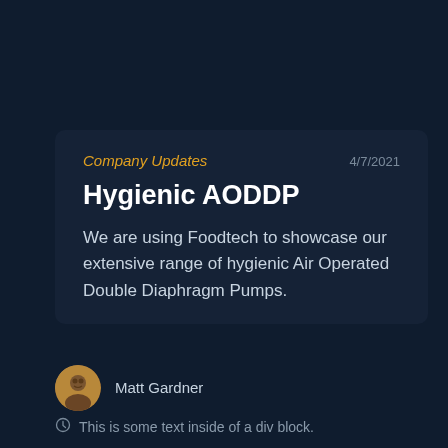Company Updates
4/7/2021
Hygienic AODDP
We are using Foodtech to showcase our extensive range of hygienic Air Operated Double Diaphragm Pumps.
Matt Gardner
This is some text inside of a div block.